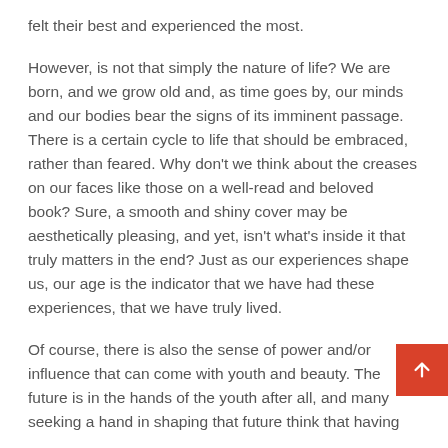felt their best and experienced the most.
However, is not that simply the nature of life? We are born, and we grow old and, as time goes by, our minds and our bodies bear the signs of its imminent passage. There is a certain cycle to life that should be embraced, rather than feared. Why don't we think about the creases on our faces like those on a well-read and beloved book? Sure, a smooth and shiny cover may be aesthetically pleasing, and yet, isn't what's inside it that truly matters in the end? Just as our experiences shape us, our age is the indicator that we have had these experiences, that we have truly lived.
Of course, there is also the sense of power and/or influence that can come with youth and beauty. The future is in the hands of the youth after all, and many seeking a hand in shaping that future think that having